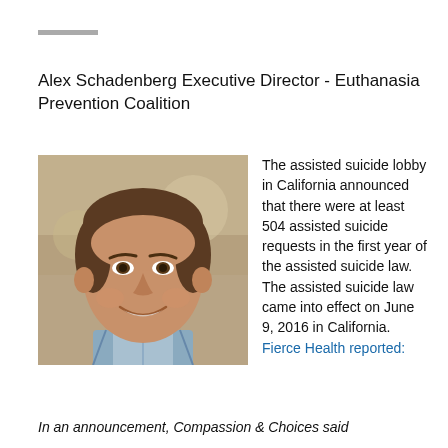—
Alex Schadenberg Executive Director - Euthanasia Prevention Coalition
[Figure (photo): Portrait photo of Alex Schadenberg, a middle-aged man with short brown hair, smiling, wearing a plaid shirt, with a blurred restaurant/cafe background.]
The assisted suicide lobby in California announced that there were at least 504 assisted suicide requests in the first year of the assisted suicide law. The assisted suicide law came into effect on June 9, 2016 in California. Fierce Health reported:
In an announcement, Compassion & Choices said